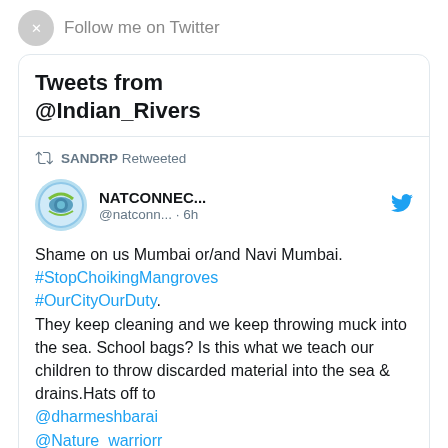Follow me on Twitter
Tweets from @Indian_Rivers
SANDRP Retweeted
NATCONNEC... @natconn... · 6h
Shame on us Mumbai or/and Navi Mumbai. #StopChoikingMangroves #OurCityOurDuty. They keep cleaning and we keep throwing muck into the sea. School bags? Is this what we teach our children to throw discarded material into the sea & drains.Hats off to @dharmeshbarai @Nature_warriorr